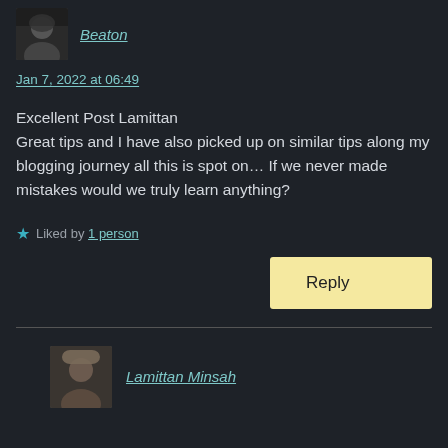Beaton
Jan 7, 2022 at 06:49
Excellent Post Lamittan
Great tips and I have also picked up on similar tips along my blogging journey all this is spot on… If we never made mistakes would we truly learn anything?
Liked by 1 person
Reply
Lamittan Minsah